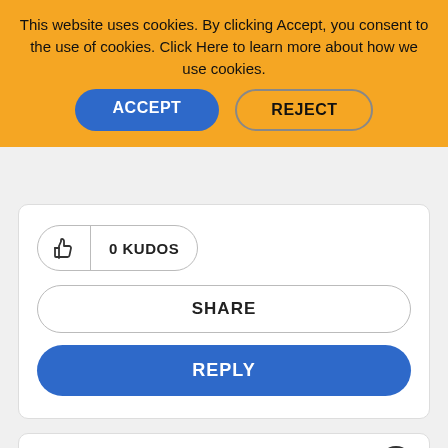This website uses cookies. By clicking Accept, you consent to the use of cookies. Click Here to learn more about how we use cookies.
ACCEPT
REJECT
0 KUDOS
SHARE
REPLY
02-03-2017 06:42 AM
motorsep
Level 8